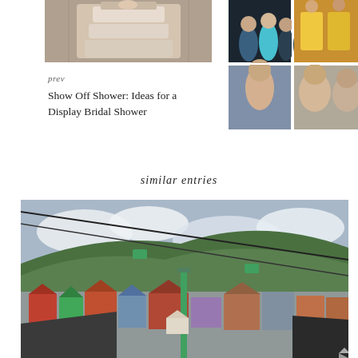[Figure (photo): Wedding cake with decorative details, close-up photo]
[Figure (photo): Collage of four photos showing groups of young women at a nighttime event]
prev
Show Off Shower: Ideas for a Display Bridal Shower
similar entries
[Figure (photo): Panoramic view of a mountain resort village with a ski lift in the foreground, buildings with colorful roofs, and a forested mountain in the background under a cloudy sky]